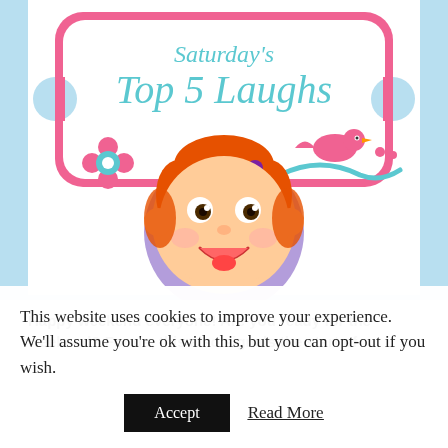[Figure (illustration): Saturday's Top 5 Laughs blog logo: a decorative pink and white badge shape with the text "Saturday's Top 5 Laughs" in teal/sky-blue italic cursive font, a cartoon smiling baby/toddler girl face in a circle at the bottom center, a pink flower on the left, and a pink bird on a blue wave on the right.]
Happy weekend everyone! Are you ready for the weekend? For us, this also signals the start of
This website uses cookies to improve your experience. We'll assume you're ok with this, but you can opt-out if you wish.